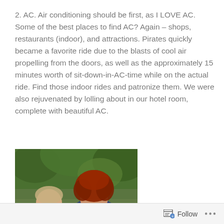2. AC. Air conditioning should be first, as I LOVE AC. Some of the best places to find AC? Again – shops, restaurants (indoor), and attractions. Pirates quickly became a favorite ride due to the blasts of cool air propelling from the doors, as well as the approximately 15 minutes worth of sit-down-in-AC-time while on the actual ride. Find those indoor rides and patronize them. We were also rejuvenated by lolling about in our hotel room, complete with beautiful AC.
[Figure (photo): Two women posing together outdoors with green trees in background. The woman on the left has light hair and is wearing a light top. The woman on the right appears to be dressed as Merida from Brave with curly red hair and a blue/dark dress.]
Follow ···